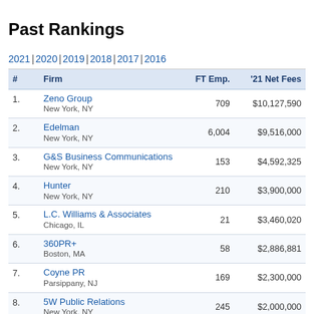Past Rankings
2021 | 2020 | 2019 | 2018 | 2017 | 2016
| # | Firm | FT Emp. | '21 Net Fees |
| --- | --- | --- | --- |
| 1. | Zeno Group
New York, NY | 709 | $10,127,590 |
| 2. | Edelman
New York, NY | 6,004 | $9,516,000 |
| 3. | G&S Business Communications
New York, NY | 153 | $4,592,325 |
| 4. | Hunter
New York, NY | 210 | $3,900,000 |
| 5. | L.C. Williams & Associates
Chicago, IL | 21 | $3,460,020 |
| 6. | 360PR+
Boston, MA | 58 | $2,886,881 |
| 7. | Coyne PR
Parsippany, NJ | 169 | $2,300,000 |
| 8. | 5W Public Relations
New York, NY | 245 | $2,000,000 |